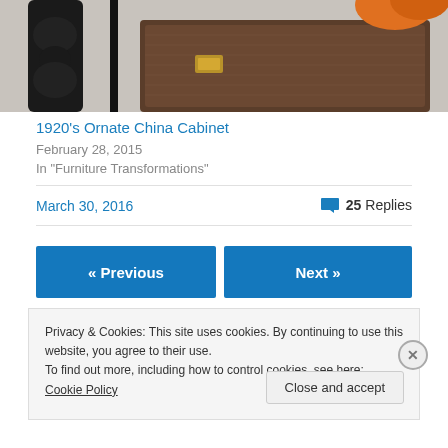[Figure (photo): Partial photo of a 1920s ornate china cabinet, showing a dark wooden lamp base on the left and a brown leather/textured case with gold buckle on the right, orange object visible at top right.]
1920's Ornate China Cabinet
February 28, 2015
In "Furniture Transformations"
March 30, 2016
💬 25 Replies
« Previous
Next »
Privacy & Cookies: This site uses cookies. By continuing to use this website, you agree to their use.
To find out more, including how to control cookies, see here: Cookie Policy
Close and accept